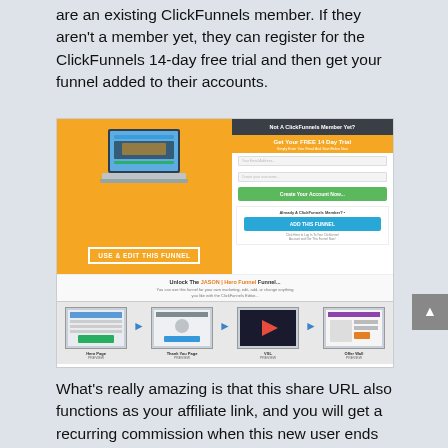are an existing ClickFunnels member. If they aren't a member yet, they can register for the ClickFunnels 14-day free trial and then get your funnel added to their accounts.
[Figure (screenshot): Screenshot of a ClickFunnels share funnel page. Left side shows a laptop graphic on orange background with 'USE & EDIT THIS FUNNEL' button. Right side shows a 'Not A ClickFunnels Member Yet?' section with 'Get Your FREE 14 Day Trial' in orange, email and password fields, a green 'Create Your Account Now...' button, and an 'Already A ClickFunnels Member?' section with a blue 'ADD THIS FUNNEL' button. Below is a caption 'Unlock The JASON | Hero Funnel Funnel...' and a funnel steps strip showing Hero Page, Thank You Page, VSL, and Offer Wall previews.]
What's really amazing is that this share URL also functions as your affiliate link, and you will get a recurring commission when this new user ends up